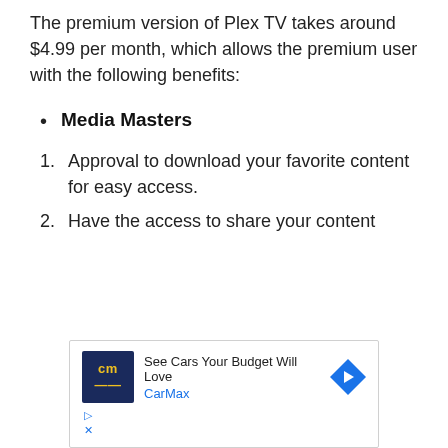The premium version of Plex TV takes around $4.99 per month, which allows the premium user with the following benefits:
Media Masters
Approval to download your favorite content for easy access.
Have the access to share your content
[Figure (other): CarMax advertisement banner showing 'See Cars Your Budget Will Love' with CarMax logo and navigation arrow icon]